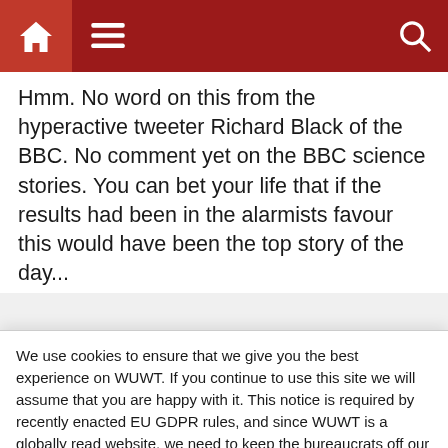[Figure (screenshot): Website navigation bar with dark red background, home icon, hamburger menu icon, and search icon]
Hmm. No word on this from the hyperactive tweeter Richard Black of the BBC. No comment yet on the BBC science stories. You can bet your life that if the results had been in the alarmists favour this would have been the top story of the day...
+ 0 −
Lew Skannen
February 9, 2012 5:02 am
We use cookies to ensure that we give you the best experience on WUWT. If you continue to use this site we will assume that you are happy with it. This notice is required by recently enacted EU GDPR rules, and since WUWT is a globally read website, we need to keep the bureaucrats off our case! Cookie Policy
Close and accept
DirkH